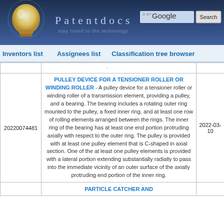[Figure (screenshot): Patentdocs website header with lightbulb logo, site title 'Patentdocs', tagline 'stay tuned to the technology', Google search box and Search button]
Inventors list   Assignees list   Classification tree browser
| [ID] | [Title/Description] | [Date] |
| --- | --- | --- |
| 20220074481 | PULLEY DEVICE FOR A TENSIONER ROLLER OR WINDING ROLLER - A pulley device for a tensioner roller or winding roller of a transmission element, providing a pulley, and a bearing. The bearing includes a rotating outer ring mounted to the pulley, a fixed inner ring, and at least one row of rolling elements arranged between the rings. The inner ring of the bearing has at least one end portion protruding axially with respect to the outer ring. The pulley is provided with at least one pulley element that is C-shaped in axial section. One of the at least one pulley elements is provided with a lateral portion extending substantially radially to pass into the immediate vicinity of an outer surface of the axially protruding end portion of the inner ring. | 2022-03-10 |
|  | PARTICLE CATCHER AND |  |